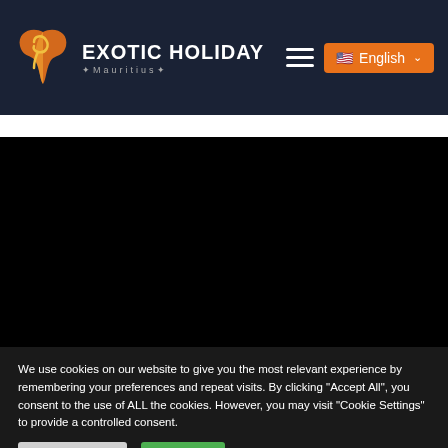[Figure (logo): Exotic Holiday Mauritius logo with butterfly/flame SVG icon and brand name]
We use cookies on our website to give you the most relevant experience by remembering your preferences and repeat visits. By clicking "Accept All", you consent to the use of ALL the cookies. However, you may visit "Cookie Settings" to provide a controlled consent.
Cookie Settings
Accept All